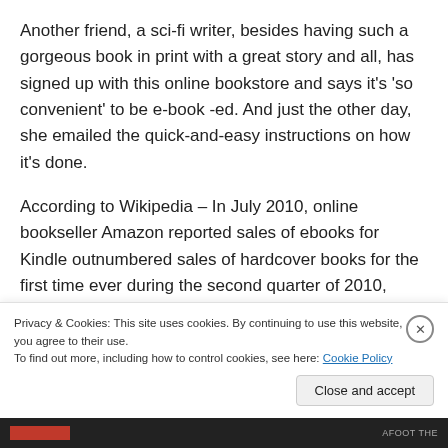Another friend, a sci-fi writer, besides having such a gorgeous book in print with a great story and all, has signed up with this online bookstore and says it's 'so convenient' to be e-book -ed. And just the other day, she emailed the quick-and-easy instructions on how it's done.
According to Wikipedia – In July 2010, online bookseller Amazon reported sales of ebooks for Kindle outnumbered sales of hardcover books for the first time ever during the second quarter of 2010, saying it sold 140 e-books for
Privacy & Cookies: This site uses cookies. By continuing to use this website, you agree to their use.
To find out more, including how to control cookies, see here: Cookie Policy
Close and accept